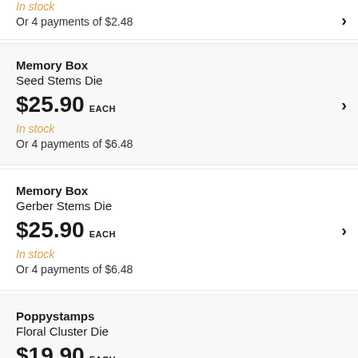In stock
Or 4 payments of $2.48
Memory Box
Seed Stems Die
$25.90 EACH
In stock
Or 4 payments of $6.48
Memory Box
Gerber Stems Die
$25.90 EACH
In stock
Or 4 payments of $6.48
Poppystamps
Floral Cluster Die
$19.90 EACH